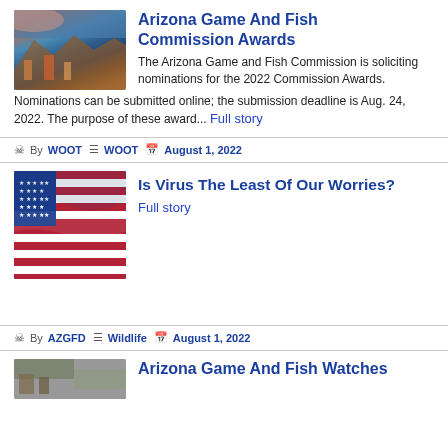[Figure (photo): Aerial view of Arizona landscape with buildings, colorful desert tones]
Arizona Game And Fish Commission Awards
The Arizona Game and Fish Commission is soliciting nominations for the 2022 Commission Awards. Nominations can be submitted online; the submission deadline is Aug. 24, 2022. The purpose of these award... Full story
By WOOT  WOOT  August 1, 2022
[Figure (photo): American flag waving against blue sky]
Is Virus The Least Of Our Worries?
Full story
By AZGFD  Wildlife  August 1, 2022
Arizona Game And Fish Watches